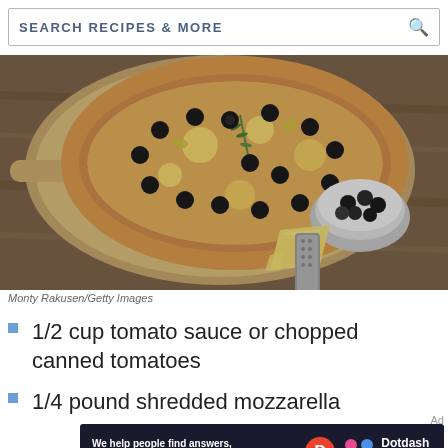SEARCH RECIPES & MORE
[Figure (photo): A pizza topped with black olives, cheese, and rosemary on a wooden paddle, with a bowl of black olives, a wedge of cheese, and a cheese grater on a wooden surface. Photo credit: Monty Rakusen/Getty Images]
Monty Rakusen/Getty Images
1/2 cup tomato sauce or chopped canned tomatoes
1/4 pound shredded mozzarella
[Figure (infographic): Dotdash Meredith advertisement banner: 'We help people find answers, solve problems and get inspired.']